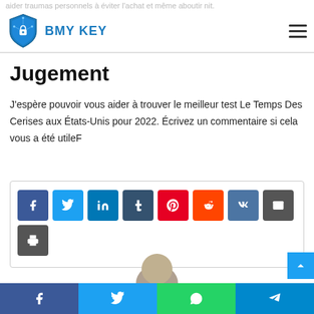aider traumas personnels à éviter l'achat et même aboutir nit.
BMY KEY
Jugement
J'espère pouvoir vous aider à trouver le meilleur test Le Temps Des Cerises aux États-Unis pour 2022. Écrivez un commentaire si cela vous a été utileF
[Figure (infographic): Social share buttons: Facebook, Twitter, LinkedIn, Tumblr, Pinterest, Reddit, VK, Email, Print]
[Figure (photo): Partially visible person's head at bottom center]
Bottom social share bar: Facebook, Twitter, WhatsApp, Telegram